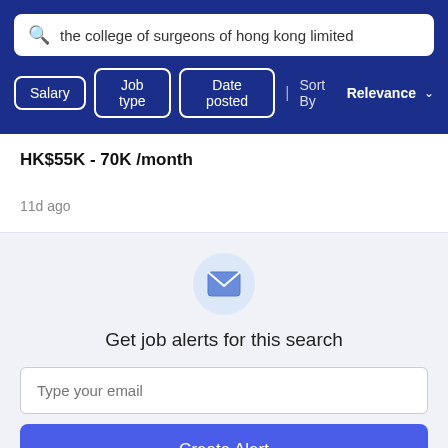the college of surgeons of hong kong limited
Salary | Job type | Date posted | Sort By Relevance
HK$55K - 70K /month
11d ago
[Figure (illustration): Envelope icon inside a light blue circle]
Get job alerts for this search
Type your email
Create Alert